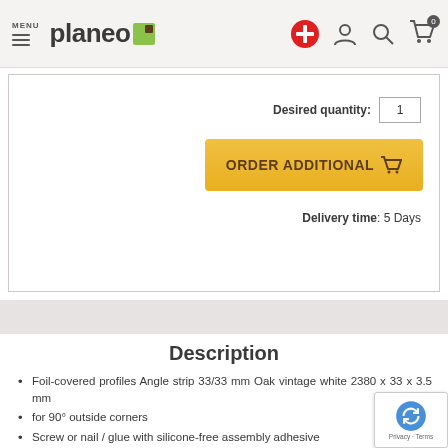[Figure (screenshot): Planeo website navigation bar with logo, menu, and icons]
Desired quantity: 1
ORDER ADDITIONAL
Delivery time: 5 Days
Description
Foil-covered profiles Angle strip 33/33 mm Oak vintage white 2380 x 33 x 3.5 mm
for 90° outside corners
Screw or nail / glue with silicone-free assembly adhesive
Package content: 10 pieces = 23.8 running metres